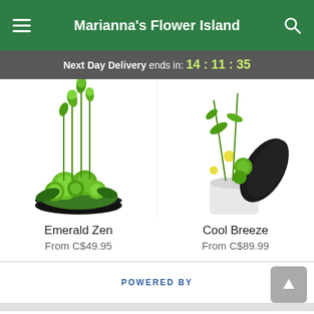Marianna's Flower Island
Next Day Delivery ends in: 14:11:35
[Figure (photo): Green floral arrangement with round green chrysanthemums and tall stems in a black bowl — Emerald Zen product photo]
Emerald Zen
From C$49.95
[Figure (photo): White and green floral arrangement with white daisies, green roses in a white pot with a dark ribbon — Cool Breeze product photo]
Cool Breeze
From C$89.99
POWERED BY
Start Order